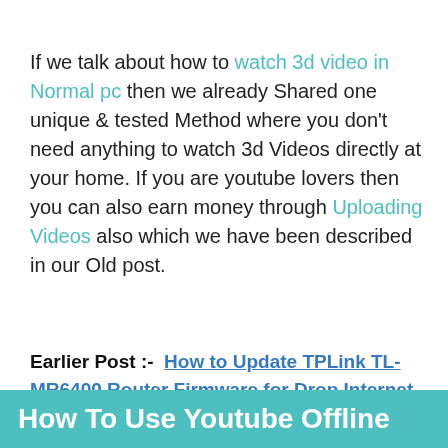If we talk about how to watch 3d video in Normal pc then we already Shared one unique & tested Method where you don't need anything to watch 3d Videos directly at your home. If you are youtube lovers then you can also earn money through Uploading Videos also which we have been described in our Old post.
Earlier Post :- How to Update TPLink TL-MR6400 Router Firmware for Drop Internet
How To Use Youtube Offline